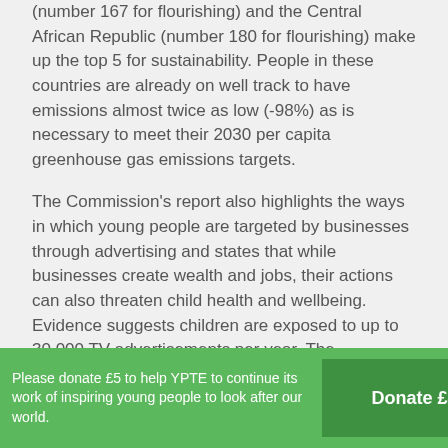(number 167 for flourishing) and the Central African Republic (number 180 for flourishing) make up the top 5 for sustainability.  People in these countries are already on well track to have emissions almost twice as low (-98%) as is necessary to meet their 2030 per capita greenhouse gas emissions targets.
The Commission's report also highlights the ways in which young people are targeted by businesses through advertising and states that while businesses create wealth and jobs, their actions can also threaten child health and wellbeing.  Evidence suggests children are exposed to up to 30,000 TV advertisements per year.  The Commission calls for greater global regulation, because existing frameworks are not adequate and industry self-regulation does not work.
Please donate £5 to help YPTE to continue its work of inspiring young people to look after our world.